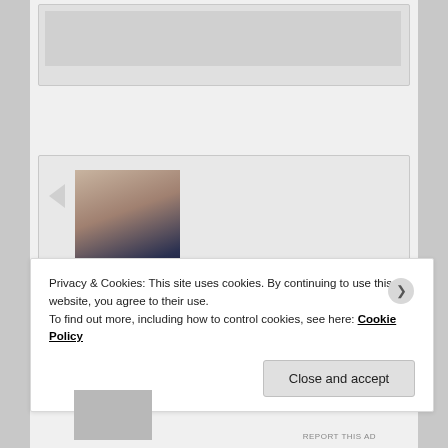[Figure (screenshot): Top section of a blog webpage showing a content card with gray image placeholder at the top]
[Figure (photo): User profile photo of SaaniaSparkle — a young woman with long blonde hair and glasses]
SaaniaSparkle 👤 on May 1, 2020 at 1:42 am said:
Nice blog
Privacy & Cookies: This site uses cookies. By continuing to use this website, you agree to their use.
To find out more, including how to control cookies, see here: Cookie Policy
Close and accept